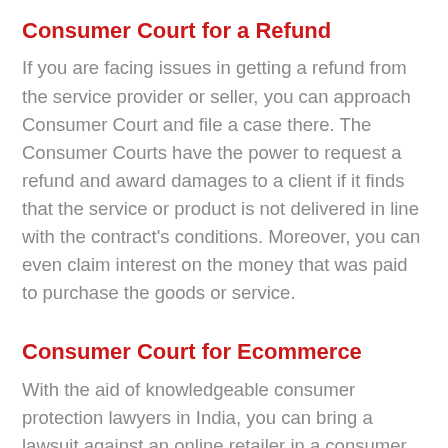Consumer Court for a Refund
If you are facing issues in getting a refund from the service provider or seller, you can approach Consumer Court and file a case there. The Consumer Courts have the power to request a refund and award damages to a client if it finds that the service or product is not delivered in line with the contract's conditions. Moreover, you can even claim interest on the money that was paid to purchase the goods or service.
Consumer Court for Ecommerce
With the aid of knowledgeable consumer protection lawyers in India, you can bring a lawsuit against an online retailer in a consumer court. You can file a case against Ecommerce store if you are unable